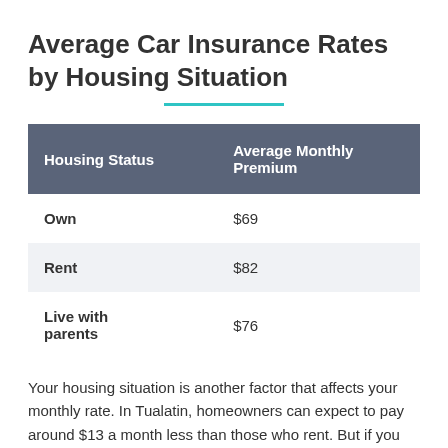Average Car Insurance Rates by Housing Situation
| Housing Status | Average Monthly Premium |
| --- | --- |
| Own | $69 |
| Rent | $82 |
| Live with parents | $76 |
Your housing situation is another factor that affects your monthly rate. In Tualatin, homeowners can expect to pay around $13 a month less than those who rent. But if you live with your parents, you can expect to pay a lot more.